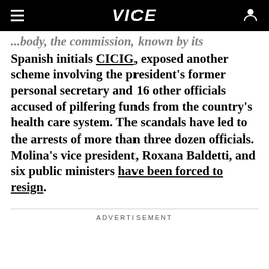VICE
...body, the commission, known by its Spanish initials CICIG, exposed another scheme involving the president's former personal secretary and 16 other officials accused of pilfering funds from the country's health care system. The scandals have led to the arrests of more than three dozen officials. Molina's vice president, Roxana Baldetti, and six public ministers have been forced to resign.
ADVERTISEMENT